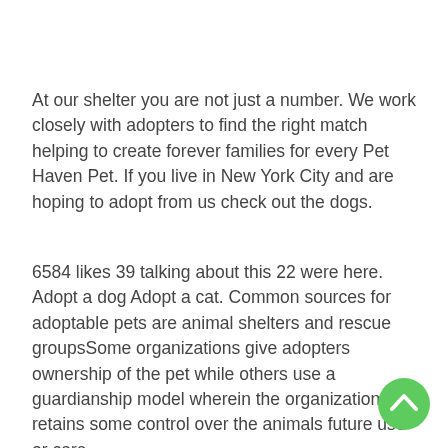At our shelter you are not just a number. We work closely with adopters to find the right match helping to create forever families for every Pet Haven Pet. If you live in New York City and are hoping to adopt from us check out the dogs.
6584 likes 39 talking about this 22 were here. Adopt a dog Adopt a cat. Common sources for adoptable pets are animal shelters and rescue groupsSome organizations give adopters ownership of the pet while others use a guardianship model wherein the organization retains some control over the animals future use or care.
[Figure (other): Green circular scroll-to-top button with white upward chevron arrow, positioned in the bottom-right corner]